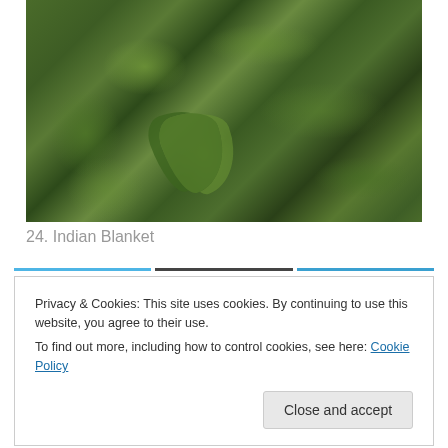[Figure (photo): Close-up photograph of dense green foliage and plants on the ground, showing various leaves and stems with dark soil/mulch visible between them.]
24. Indian Blanket
Privacy & Cookies: This site uses cookies. By continuing to use this website, you agree to their use.
To find out more, including how to control cookies, see here: Cookie Policy